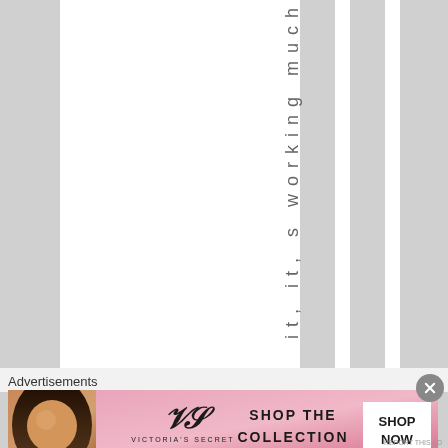[Figure (other): Webpage screenshot showing vertical text reading 'it, it, s working much' arranged character by character in a vertical column on a white and gray striped background]
Advertisements
[Figure (screenshot): Victoria's Secret advertisement banner with a model photo, VS logo, 'SHOP THE COLLECTION' text, and 'SHOP NOW' button on a pink gradient background]